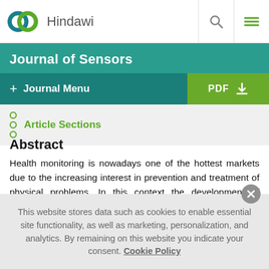[Figure (logo): Hindawi logo with two interlocking circles (teal and green) and Hindawi text]
Journal of Sensors
+ Journal Menu | PDF download
Article Sections
Abstract
Health monitoring is nowadays one of the hottest markets due to the increasing interest in prevention and treatment of physical problems. In this context the development of wearable, wireless,
This website stores data such as cookies to enable essential site functionality, as well as marketing, personalization, and analytics. By remaining on this website you indicate your consent. Cookie Policy